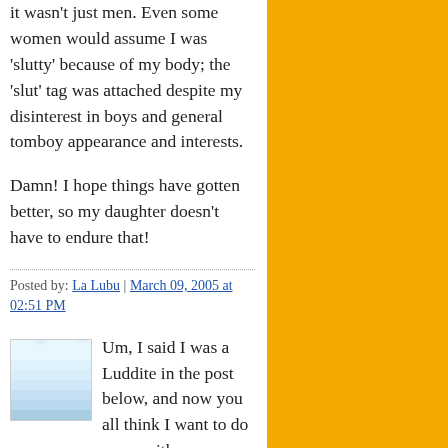it wasn't just men. Even some women would assume I was 'slutty' because of my body; the 'slut' tag was attached despite my disinterest in boys and general tomboy appearance and interests.
Damn! I hope things have gotten better, so my daughter doesn't have to endure that!
Posted by: La Lubu | March 09, 2005 at 02:51 PM
[Figure (illustration): User avatar showing stylized waves in light blue on a white/light background, square icon]
Um, I said I was a Luddite in the post below, and now you all think I want to do away with refrigeration and vitamins and rocket us back to 1895.
Seriously, I am convinced